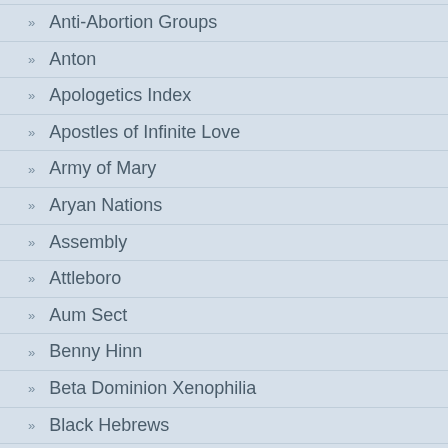Anti-Abortion Groups
Anton
Apologetics Index
Apostles of Infinite Love
Army of Mary
Aryan Nations
Assembly
Attleboro
Aum Sect
Benny Hinn
Beta Dominion Xenophilia
Black Hebrews
Brainwashing
Brethren
Brother Julius
Caritas of Birmingham
Charles Manson